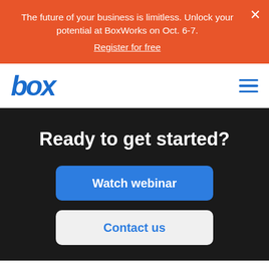The future of your business is limitless. Unlock your potential at BoxWorks on Oct. 6-7. Register for free
[Figure (logo): Box logo in blue italic text]
Ready to get started?
Watch webinar
Contact us